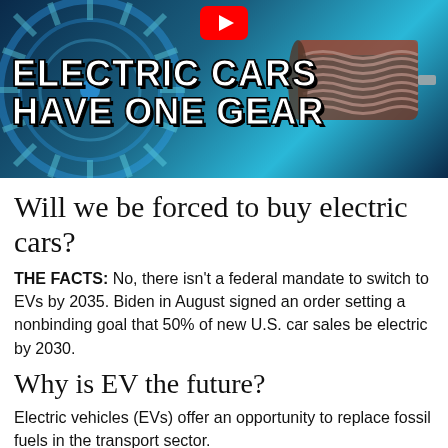[Figure (screenshot): YouTube video thumbnail showing electric car motor/gear components on a blue tech background with bold white text reading 'ELECTRIC CARS HAVE ONE GEAR' and a YouTube logo at top center]
Will we be forced to buy electric cars?
THE FACTS: No, there isn't a federal mandate to switch to EVs by 2035. Biden in August signed an order setting a nonbinding goal that 50% of new U.S. car sales be electric by 2030.
Why is EV the future?
Electric vehicles (EVs) offer an opportunity to replace fossil fuels in the transport sector.